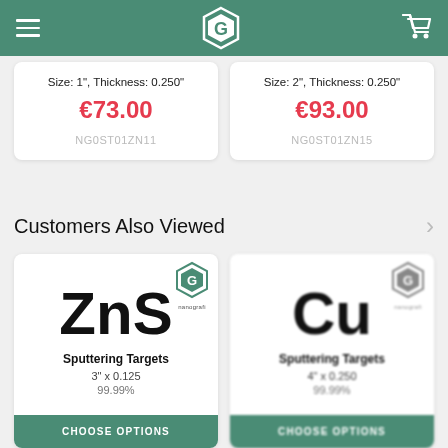Navigation bar with hamburger menu, logo, and cart icon
Size: 1", Thickness: 0.250"
€73.00
NG0ST01ZN11
Size: 2", Thickness: 0.250"
€93.00
NG0ST01ZN15
Customers Also Viewed
[Figure (other): ZnS Sputtering Targets product card. Shows ZnS in large bold text, Sputtering Targets subtitle, 3" x 0.125, 99.99%, with nanografi logo. CHOOSE OPTIONS button at bottom.]
[Figure (other): Cu Sputtering Targets product card (blurred). Shows Cu in large bold text, Sputtering Targets subtitle, 4" x 0.250, 99.99%, with nanografi logo. CHOOSE OPTIONS button at bottom.]